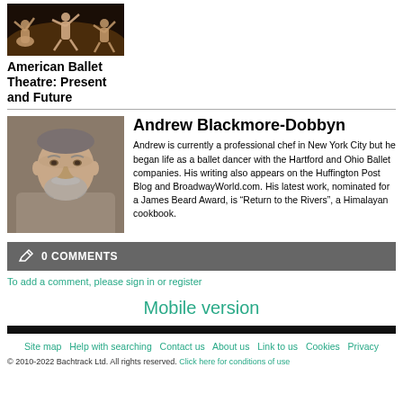[Figure (photo): Photo of ballet dancers performing on stage]
American Ballet Theatre: Present and Future
[Figure (photo): Headshot photo of Andrew Blackmore-Dobbyn, a middle-aged man with a grey beard]
Andrew Blackmore-Dobbyn
Andrew is currently a professional chef in New York City but he began life as a ballet dancer with the Hartford and Ohio Ballet companies. His writing also appears on the Huffington Post Blog and BroadwayWorld.com. His latest work, nominated for a James Beard Award, is “Return to the Rivers”, a Himalayan cookbook.
0 COMMENTS
To add a comment, please sign in or register
Mobile version
Site map  Help with searching  Contact us  About us  Link to us  Cookies  Privacy
© 2010-2022 Bachtrack Ltd. All rights reserved. Click here for conditions of use